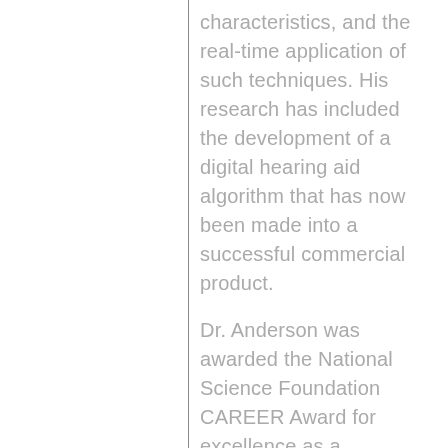characteristics, and the real-time application of such techniques. His research has included the development of a digital hearing aid algorithm that has now been made into a successful commercial product.
Dr. Anderson was awarded the National Science Foundation CAREER Award for excellence as a